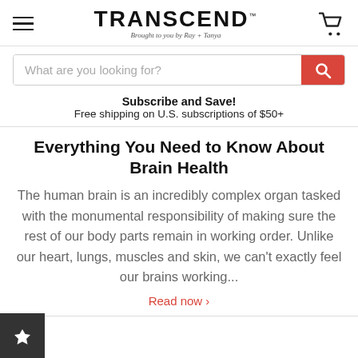TRANSCEND™ — Brought to you by Ray + Tanya
What are you looking for?
Subscribe and Save!
Free shipping on U.S. subscriptions of $50+
Everything You Need to Know About Brain Health
The human brain is an incredibly complex organ tasked with the monumental responsibility of making sure the rest of our body parts remain in working order. Unlike our heart, lungs, muscles and skin, we can't exactly feel our brains working...
Read now ›